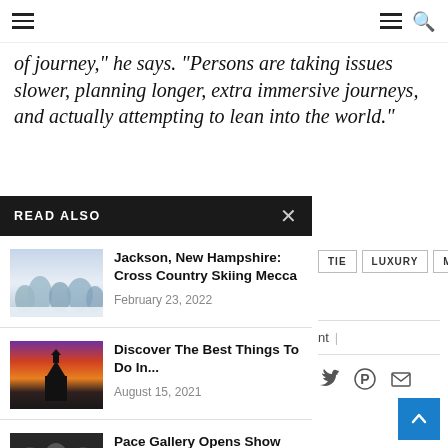Navigation bar with hamburger menu and search icon
of journey, he says. Persons are taking issues slower, planning longer, extra immersive journeys, and actually attempting to lean into the world."
READ ALSO
Jackson, New Hampshire: Cross Country Skiing Mecca — February 23, 2022
Discover The Best Things To Do In... — August 15, 2021
Pace Gallery Opens Show Spanning 70 Years... — June 28, 2022
TIE  LUXURY  MOVIE
nt  |
[Figure (other): Social share icons: Twitter bird, Pinterest P, email envelope]